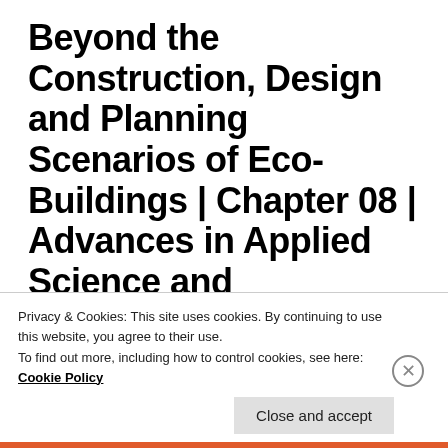Beyond the Construction, Design and Planning Scenarios of Eco-Buildings | Chapter 08 | Advances in Applied Science and Technology Vol. 6
Privacy & Cookies: This site uses cookies. By continuing to use this website, you agree to their use. To find out more, including how to control cookies, see here: Cookie Policy
Close and accept